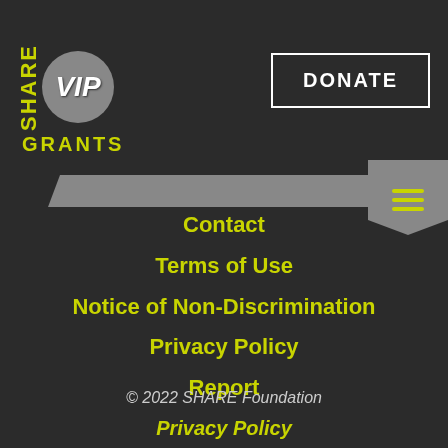[Figure (logo): SHARE VIP Grants logo with yellow SHARE text, VIP in grey circle, and GRANTS text below]
DONATE
Contact
Terms of Use
Notice of Non-Discrimination
Privacy Policy
Report
© 2022 SHARE Foundation
Privacy Policy